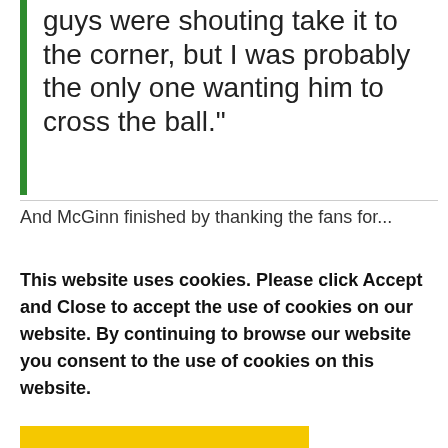guys were shouting take it to the corner, but I was probably the only one wanting him to cross the ball."
And McGinn finished by thanking the fans for...
This website uses cookies. Please click Accept and Close to accept the use of cookies on our website. By continuing to browse our website you consent to the use of cookies on this website.
ACCEPT AND CLOSE